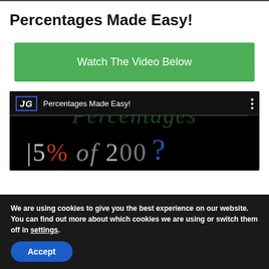Percentages Made Easy!
[Figure (screenshot): Green button with text 'Watch The Video Below']
[Figure (screenshot): Embedded video player showing 'JG Percentages Made Easy!' with a blackboard showing '15% of 200?' in the background]
We are using cookies to give you the best experience on our website.
You can find out more about which cookies we are using or switch them off in settings.
[Figure (screenshot): Accept button for cookie consent]